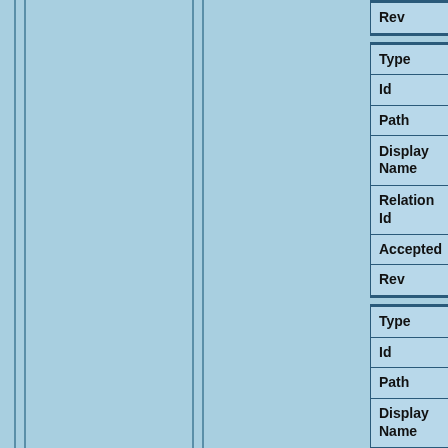| Field | Value |
| --- | --- |
| Rev | 1 |
| Type | tekstdrager |
| Id | TDRA0000000002079 |
| Path | domain/tekstdragers/TDRA0000... |
| Display Name | GRONINGEN, UB : 21 |
| Relation Id | RELA000000052127 |
| Accepted | yes |
| Rev | 1 |
| Type | tekstdrager |
| Id | TDRA0000000002103 |
| Path | domain/tekstdragers/TDRA0000... |
| Display Name | GRONINGEN, UB : 215 |